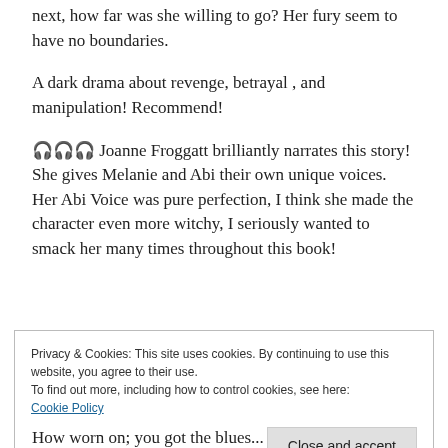next, how far was she willing to go? Her fury seem to have no boundaries.
A dark drama about revenge, betrayal , and manipulation! Recommend!
🎧🎧🎧 Joanne Froggatt brilliantly narrates this story! She gives Melanie and Abi their own unique voices. Her Abi Voice was pure perfection, I think she made the character even more witchy, I seriously wanted to smack her many times throughout this book!
Privacy & Cookies: This site uses cookies. By continuing to use this website, you agree to their use.
To find out more, including how to control cookies, see here:
Cookie Policy
How worn on; you got the blues...